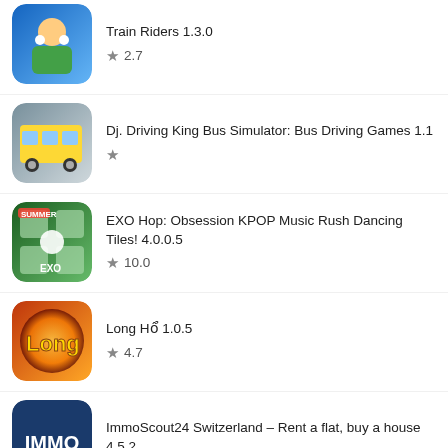Train Riders 1.3.0 ★ 2.7
Dj. Driving King Bus Simulator: Bus Driving Games 1.1 ★
EXO Hop: Obsession KPOP Music Rush Dancing Tiles! 4.0.0.5 ★ 10.0
Long Hổ 1.0.5 ★ 4.7
ImmoScout24 Switzerland – Rent a flat, buy a house 4.5.2